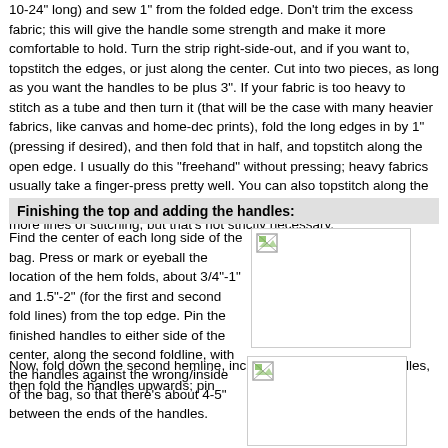10-24" long) and sew 1" from the folded edge. Don't trim the excess fabric; this will give the handle some strength and make it more comfortable to hold. Turn the strip right-side-out, and if you want to, topstitch the edges, or just along the center. Cut into two pieces, as long as you want the handles to be plus 3". If your fabric is too heavy to stitch as a tube and then turn it (that will be the case with many heavier fabrics, like canvas and home-dec prints), fold the long edges in by 1" (pressing if desired), and then fold that in half, and topstitch along the open edge. I usually do this "freehand" without pressing; heavy fabrics usually take a finger-press pretty well. You can also topstitch along the folded edge, and anywhere else you like; it looks fancier if there are more lines of stitching, but that's not strictly necessary.
Finishing the top and adding the handles:
Find the center of each long side of the bag. Press or mark or eyeball the location of the hem folds, about 3/4"-1" and 1.5"-2" (for the first and second fold lines) from the top edge. Pin the finished handles to either side of the center, along the second foldline, with the handles against the wrong/inside of the bag, so that there's about 4-5" between the ends of the handles.
[Figure (photo): Image placeholder showing a broken image icon in top-left corner, white background with border]
Now, fold down the second hemline, including the ends of the handles, then fold the handles upwards; pin
[Figure (photo): Image placeholder showing a broken image icon in top-left corner, white background with border]